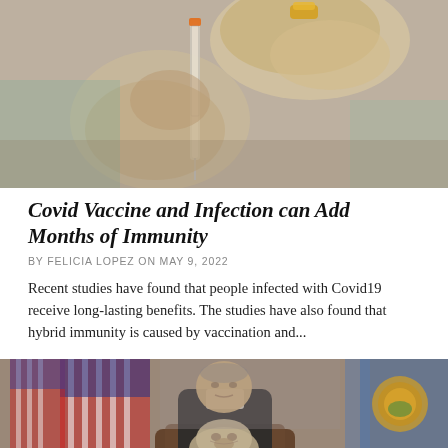[Figure (photo): Close-up of gloved hands holding a syringe and vaccine vial, medical setting]
Covid Vaccine and Infection can Add Months of Immunity
BY FELICIA LOPEZ ON MAY 9, 2022
Recent studies have found that people infected with Covid19 receive long-lasting benefits. The studies have also found that hybrid immunity is caused by vaccination and...
[Figure (photo): Man in suit sitting in chair with a bulldog, American flags and state seal visible in background]